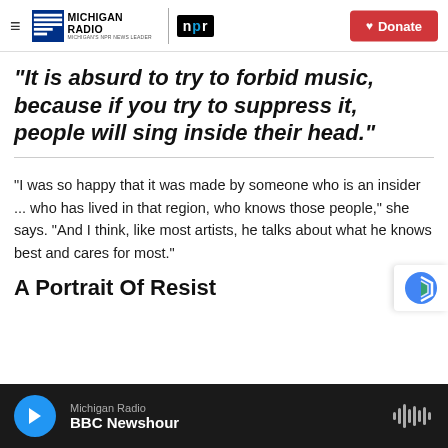Michigan Radio | NPR | Donate
"It is absurd to try to forbid music, because if you try to suppress it, people will sing inside their head."
"I was so happy that it was made by someone who is an insider ... who has lived in that region, who knows those people," she says. "And I think, like most artists, he talks about what he knows best and cares for most."
Michigan Radio | BBC Newshour